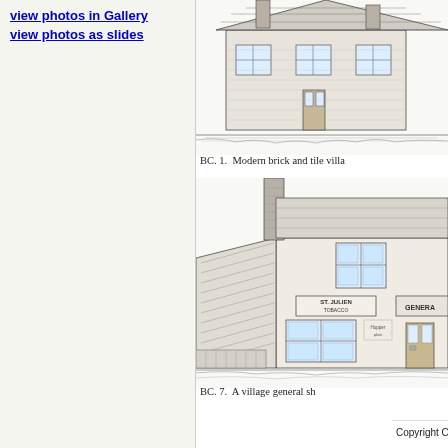view photos in Gallery
view photos as slides
[Figure (illustration): Pen-and-ink drawing of a modern brick and tile villa building, BC. 1.]
BC. 1.  Modern brick and tile villa
[Figure (illustration): Pen-and-ink drawing of a village general shop/store building with chimney, St. Julien Tobacco and General store signage, BC. 7.]
BC. 7.  A village general sh
Copyright CV Russell and E Fells. Reproduced with th